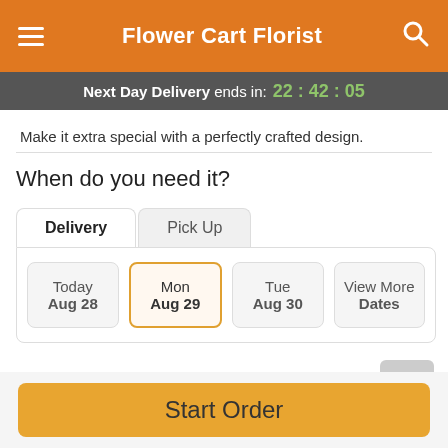Flower Cart Florist
Next Day Delivery ends in: 22:42:05
Make it extra special with a perfectly crafted design.
When do you need it?
Delivery | Pick Up
| Day | Date |
| --- | --- |
| Today | Aug 28 |
| Mon | Aug 29 |
| Tue | Aug 30 |
| View More Dates |  |
Guaranteed SAFE Checkout
Start Order